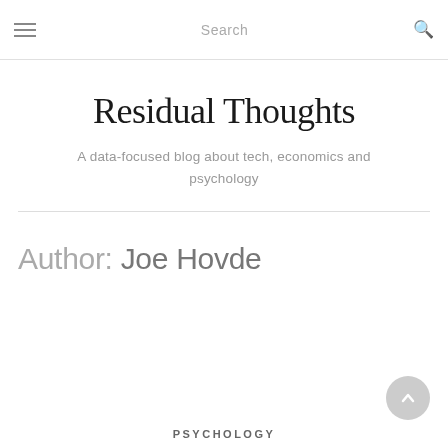Search
Residual Thoughts
A data-focused blog about tech, economics and psychology
Author: Joe Hovde
PSYCHOLOGY